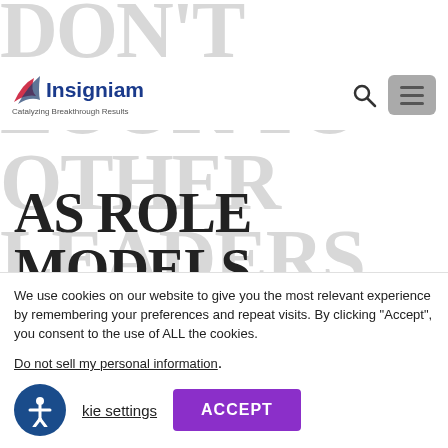[Figure (logo): Insigniam logo with wing graphic, tagline 'Catalyzing Breakthrough Results']
AS ROLE MODELS.
It is tempting to emulate the leadership styles of those who have the ultimate leadership positions. But the leadership characteristics that German Chancellor Angela Merkel...
We use cookies on our website to give you the most relevant experience by remembering your preferences and repeat visits. By clicking “Accept”, you consent to the use of ALL the cookies.
Do not sell my personal information.